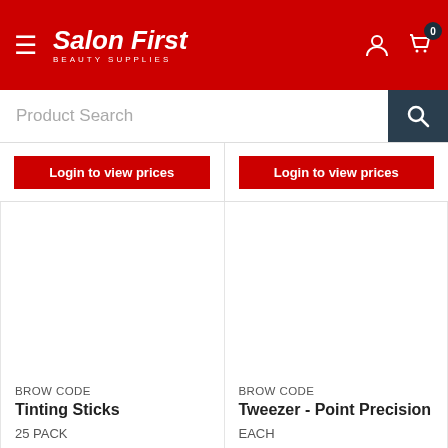Salon First Beauty Supplies
Product Search
Login to view prices
Login to view prices
BROW CODE
Tinting Sticks
25 PACK
BROW CODE
Tweezer - Point Precision
EACH